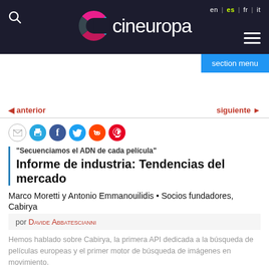[Figure (logo): Cineuropa website header with logo, search icon, language switcher (en | es | fr | it), hamburger menu, and section menu button]
anterior   siguiente
[Figure (infographic): Social sharing icons: email, print, Facebook, Twitter, Reddit, Pinterest]
"Secuenciamos el ADN de cada película"
Informe de industria: Tendencias del mercado
Marco Moretti y Antonio Emmanouilidis • Socios fundadores, Cabirya
por Davide Abbatescianni
Hemos hablado sobre Cabirya, la primera API dedicada a la búsqueda de películas europeas y el primer motor de búsqueda de imágenes en movimiento.